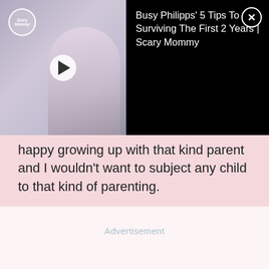[Figure (screenshot): Video overlay banner with thumbnail of a blonde woman sitting, Scary Mommy logo in top-left corner of thumbnail, play button in center, and title text on black background to the right. Close button (X) in top-right corner.]
happy growing up with that kind parent and I wouldn't want to subject any child to that kind of parenting.
Advertisement